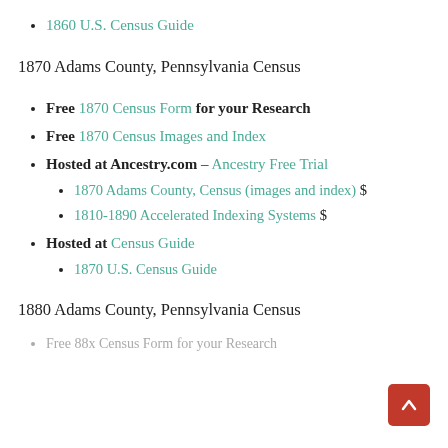1860 U.S. Census Guide
1870 Adams County, Pennsylvania Census
Free 1870 Census Form for your Research
Free 1870 Census Images and Index
Hosted at Ancestry.com – Ancestry Free Trial
1870 Adams County, Census (images and index) $
1810-1890 Accelerated Indexing Systems $
Hosted at Census Guide
1870 U.S. Census Guide
1880 Adams County, Pennsylvania Census
Free 88x Census Form for your Research